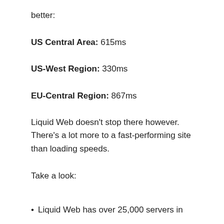better:
US Central Area: 615ms
US-West Region: 330ms
EU-Central Region: 867ms
Liquid Web doesn't stop there however. There's a lot more to a fast-performing site than loading speeds.
Take a look:
Liquid Web has over 25,000 servers in